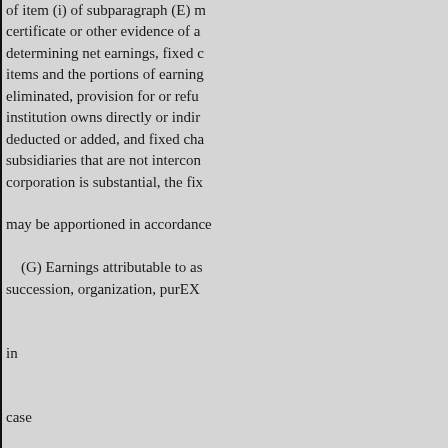of item (i) of subparagraph (E) m... certificate or other evidence of a... determining net earnings, fixed c... items and the portions of earning... eliminated, provision for or refu... institution owns directly or indir... deducted or added, and fixed cha... subsidiaries that are not intercon... corporation is substantial, the fix... may be apportioned in accordance... (G) Earnings attributable to as... succession, organization, purEX... in... case... or...